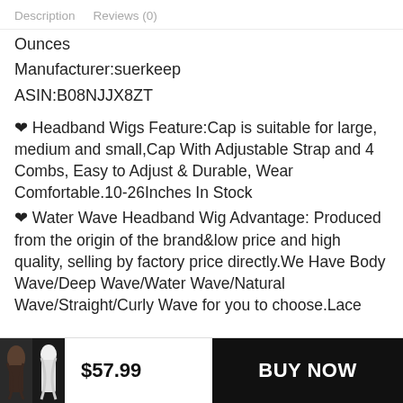Description   Reviews (0)
Ounces
Manufacturer:suerkeep
ASIN:B08NJJX8ZT
❤ Headband Wigs Feature:Cap is suitable for large, medium and small,Cap With Adjustable Strap and 4 Combs, Easy to Adjust & Durable, Wear Comfortable.10-26Inches In Stock
❤ Water Wave Headband Wig Advantage: Produced from the origin of the brand low price and high quality, selling by factory price directly.We Have Body Wave/Deep Wave/Water Wave/Natural Wave/Straight/Curly Wave for you to choose.Lace
$57.99
BUY NOW